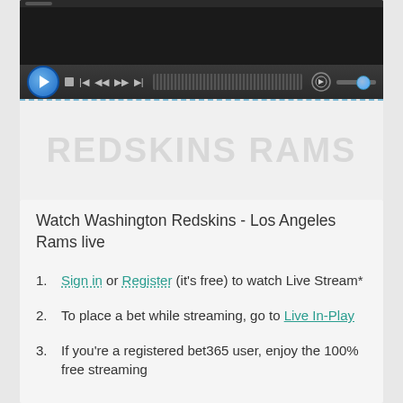[Figure (screenshot): Video player with dark background, playback controls including play button, skip buttons, progress bar, and volume control with slider]
[Figure (screenshot): Blurred/watermarked text area below the video player, showing faint repeated text as background watermark]
Watch Washington Redskins - Los Angeles Rams live
Sign in or Register (it’s free) to watch Live Stream*
To place a bet while streaming, go to Live In-Play
If you’re a registered bet365 user, enjoy the 100% free streaming